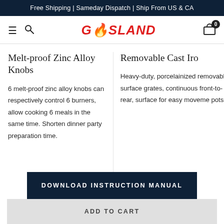Free Shipping | Sameday Dispatch | Ship From US & CA
[Figure (logo): GASLAND logo in red italic bold font with flame icon replacing 'A']
Melt-proof Zinc Alloy Knobs
6 melt-proof zinc alloy knobs can respectively control 6 burners, allow cooking 6 meals in the same time. Shorten dinner party preparation time.
Removable Cast Iro
Heavy-duty, porcelainized removable surface grates, continuous front-to-rear, surface for easy moveme pots.
DOWNLOAD INSTRUCTION MANUAL
ADD TO CART